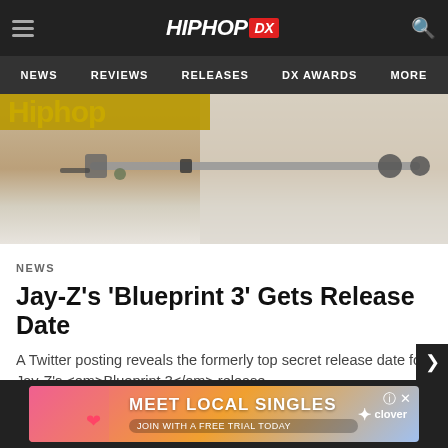HIPHOP DX — NEWS | REVIEWS | RELEASES | DX AWARDS | MORE
[Figure (photo): Record player tonearm close-up photo with beige/brown background]
NEWS
Jay-Z's 'Blueprint 3' Gets Release Date
A Twitter posting reveals the formerly top secret release date for Jay-Z's <em>Blueprint 3</em> release.
[Figure (other): Advertisement banner: Meet Local Singles — Join with a free trial today — Clover]